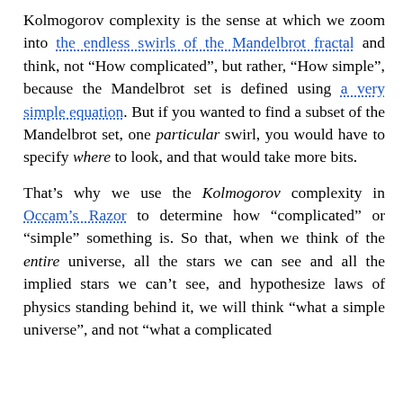Kolmogorov complexity is the sense at which we zoom into the endless swirls of the Mandelbrot fractal and think, not “How complicated”, but rather, “How simple”, because the Mandelbrot set is defined using a very simple equation. But if you wanted to find a subset of the Mandelbrot set, one particular swirl, you would have to specify where to look, and that would take more bits.
That’s why we use the Kolmogorov complexity in Occam’s Razor to determine how “complicated” or “simple” something is. So that, when we think of the entire universe, all the stars we can see and all the implied stars we can’t see, and hypothesize laws of physics standing behind it, we will think “what a simple universe”, and not “what a complicated